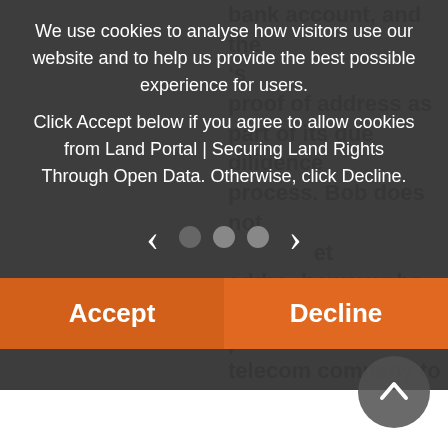bank account, and the 's proof of address as part of its due diligence process. Bob does not et addre however he does have a mobile phone. Bob asks his telecom company to issue him a proof of d on his ry as a signed credential that he can present to the bank (and to whoever else may need it in the future). Bob stores this credential in his digital
We use cookies to analyse how visitors use our website and to help us provide the best possible experience for users.

Click Accept below if you agree to allow cookies from Land Portal | Securing Land Rights Through Open Data. Otherwise, click Decline.